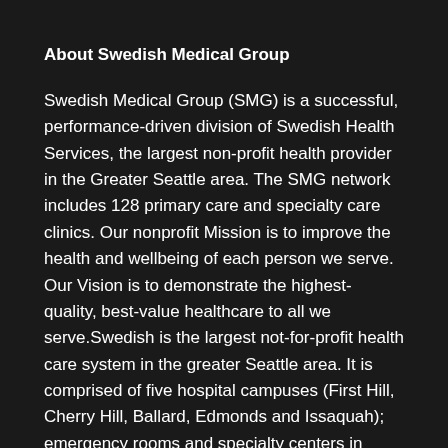About Swedish Medical Group
Swedish Medical Group (SMG) is a successful, performance-driven division of Swedish Health Services, the largest non-profit health provider in the Greater Seattle area. The SMG network includes 128 primary care and specialty care clinics. Our nonprofit Mission is to improve the health and wellbeing of each person we serve. Our Vision is to demonstrate the highest-quality, best-value healthcare to all we serve.Swedish is the largest not-for-profit health care system in the greater Seattle area. It is comprised of five hospital campuses (First Hill, Cherry Hill, Ballard, Edmonds and Issaquah); emergency rooms and specialty centers in Redmond and